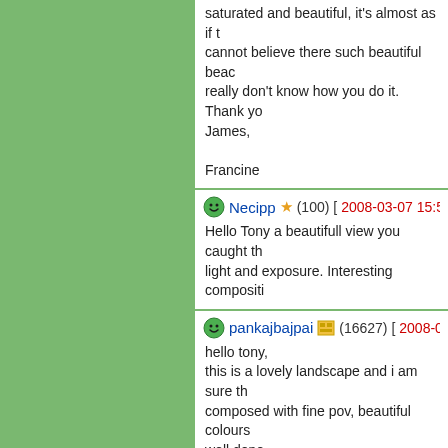saturated and beautiful, it's almost as if ... cannot believe there such beautiful beac... really don't know how you do it. Thank yo... James,

Francine
Necipp ★ (100) [2008-03-07 15:59]
Hello Tony a beautifull view you caught th... light and exposure. Interesting compositi...
pankajbajpai (16627) [2008-03-07 19:...]
hello tony,
this is a lovely landscape and i am sure th... composed with fine pov, beautiful colours... well done,
tfs & regards
pankaj
Nephrotome2 (2538) [2008-03-08 0:5...]
What a beautiful place.
Excellent shot taken in optimal weather c...
I would have liked it even more without th... is stunning.
TFS
JM
smitha (4409) [2008-03-08 1:01]